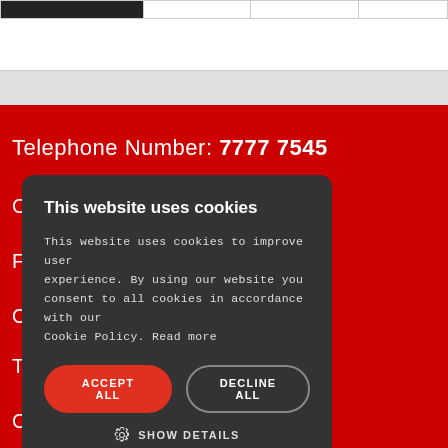|  |  |  |  |
Telephone Number: 7777 7545
C
Fr
O
T
C
[Figure (screenshot): Cookie consent dialog with title 'This website uses cookies', body text about cookie policy, Accept All button (red), Decline All button (outlined), and Show Details option with gear icon.]